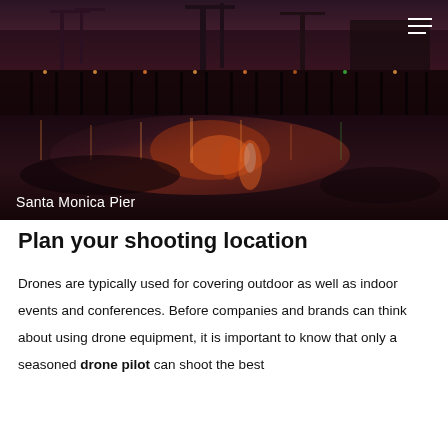[Figure (photo): Nighttime photo of Santa Monica Pier area showing wet sand reflecting colorful lights, with industrial structures and cranes visible in the background under a dramatic purple-orange sky.]
Santa Monica Pier
Plan your shooting location
Drones are typically used for covering outdoor as well as indoor events and conferences. Before companies and brands can think about using drone equipment, it is important to know that only a seasoned drone pilot can shoot the best